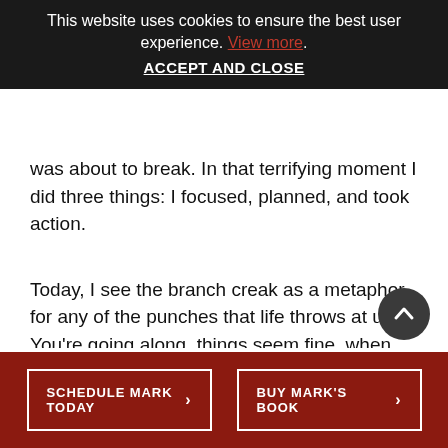This website uses cookies to ensure the best user experience. View more. ACCEPT AND CLOSE
was about to break. In that terrifying moment I did three things: I focused, planned, and took action.
Today, I see the branch creak as a metaphor for any of the punches that life throws at us. You’re going along, things seem fine, when suddenly you hear that warning creak and you know you’re about to crash down…unless you can focus, make a plan, and take the action to save yourself.
SCHEDULE MARK TODAY  >    BUY MARK'S BOOK  >